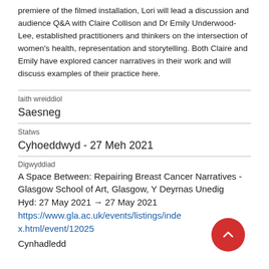premiere of the filmed installation, Lori will lead a discussion and audience Q&A with Claire Collison and Dr Emily Underwood-Lee, established practitioners and thinkers on the intersection of women's health, representation and storytelling. Both Claire and Emily have explored cancer narratives in their work and will discuss examples of their practice here.
Iaith wreiddiol
Saesneg
Statws
Cyhoeddwyd - 27 Meh 2021
Digwyddiad
A Space Between: Repairing Breast Cancer Narratives - Glasgow School of Art, Glasgow, Y Deyrnas Unedig
Hyd: 27 May 2021 → 27 May 2021
https://www.gla.ac.uk/events/listings/index.html/event/12025
Cynhadledd